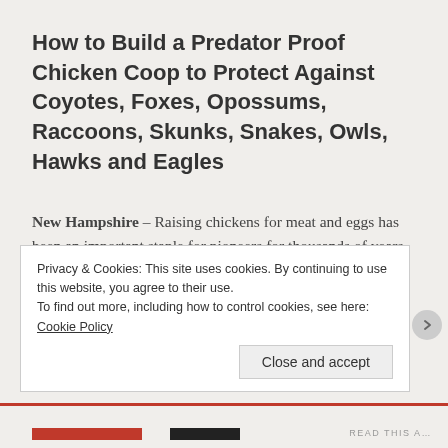How to Build a Predator Proof Chicken Coop to Protect Against Coyotes, Foxes, Opossums, Raccoons, Skunks, Snakes, Owls, Hawks and Eagles
New Hampshire – Raising chickens for meat and eggs has been an important staple for pioneers for thousands of years. We highly recommend researching the links below and use them to plan ahead before building your first chicken coop and chicken run.
Privacy & Cookies: This site uses cookies. By continuing to use this website, you agree to their use.
To find out more, including how to control cookies, see here: Cookie Policy
Close and accept